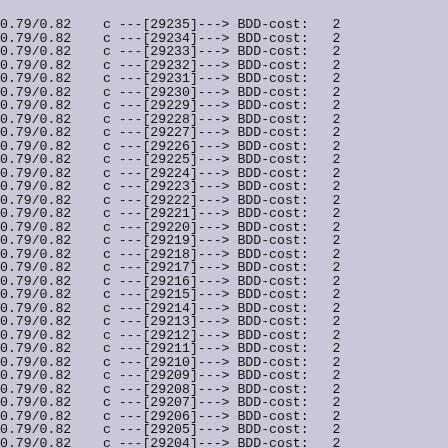0.79/0.82   c ---[29235]---> BDD-cost:   2
0.79/0.82   c ---[29234]---> BDD-cost:   2
0.79/0.82   c ---[29233]---> BDD-cost:   2
0.79/0.82   c ---[29232]---> BDD-cost:   2
0.79/0.82   c ---[29231]---> BDD-cost:   2
0.79/0.82   c ---[29230]---> BDD-cost:   2
0.79/0.82   c ---[29229]---> BDD-cost:   2
0.79/0.82   c ---[29228]---> BDD-cost:   2
0.79/0.82   c ---[29227]---> BDD-cost:   2
0.79/0.82   c ---[29226]---> BDD-cost:   2
0.79/0.82   c ---[29225]---> BDD-cost:   2
0.79/0.82   c ---[29224]---> BDD-cost:   2
0.79/0.82   c ---[29223]---> BDD-cost:   2
0.79/0.82   c ---[29222]---> BDD-cost:   2
0.79/0.82   c ---[29221]---> BDD-cost:   2
0.79/0.82   c ---[29220]---> BDD-cost:   2
0.79/0.82   c ---[29219]---> BDD-cost:   2
0.79/0.82   c ---[29218]---> BDD-cost:   2
0.79/0.82   c ---[29217]---> BDD-cost:   2
0.79/0.82   c ---[29216]---> BDD-cost:   2
0.79/0.82   c ---[29215]---> BDD-cost:   2
0.79/0.82   c ---[29214]---> BDD-cost:   2
0.79/0.82   c ---[29213]---> BDD-cost:   2
0.79/0.82   c ---[29212]---> BDD-cost:   2
0.79/0.82   c ---[29211]---> BDD-cost:   2
0.79/0.82   c ---[29210]---> BDD-cost:   2
0.79/0.82   c ---[29209]---> BDD-cost:   2
0.79/0.82   c ---[29208]---> BDD-cost:   2
0.79/0.82   c ---[29207]---> BDD-cost:   2
0.79/0.82   c ---[29206]---> BDD-cost:   2
0.79/0.82   c ---[29205]---> BDD-cost:   2
0.79/0.82   c ---[29204]---> BDD-cost:   2
0.79/0.82   c ---[29203]---> BDD-cost:   2